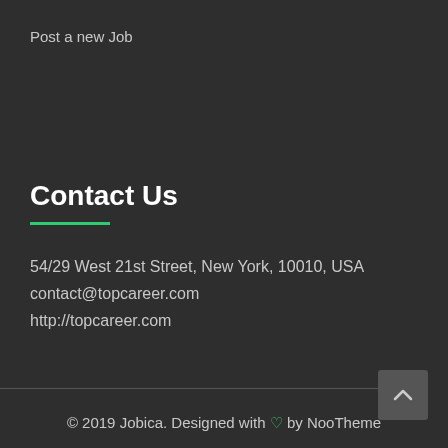Post a new Job
Contact Us
54/29 West 21st Street, New York, 10010, USA
contact@topcareer.com
http://topcareer.com
© 2019 Jobica. Designed with ♡ by NooTheme